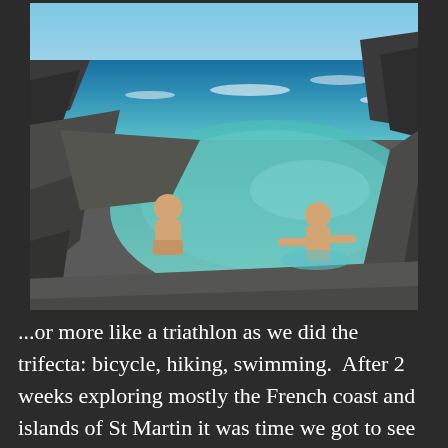[Figure (photo): Outdoor coastal scene showing two people in a rocky tidal pool or natural ocean pool with clear turquoise water. Jagged dark rocks surround the pool. In the background, waves crash against rocks with blue ocean and sky visible. One person is crouching on rocks at left, another is wading in the water at center-right.]
...or more like a triathlon as we did the trifecta: bicycle, hiking, swimming.  After 2 weeks exploring mostly the French coast and islands of St Martin it was time we got to see more of the Dutch side.  In normal times we'd simply keep moving the boat